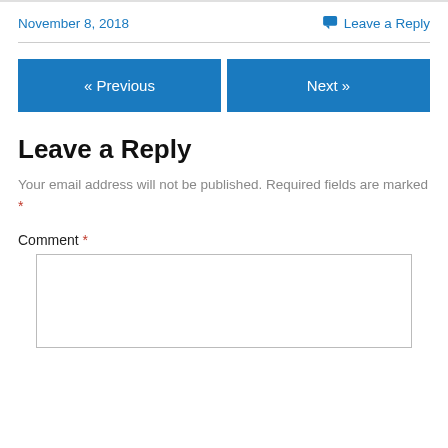November 8, 2018
Leave a Reply
« Previous
Next »
Leave a Reply
Your email address will not be published. Required fields are marked *
Comment *